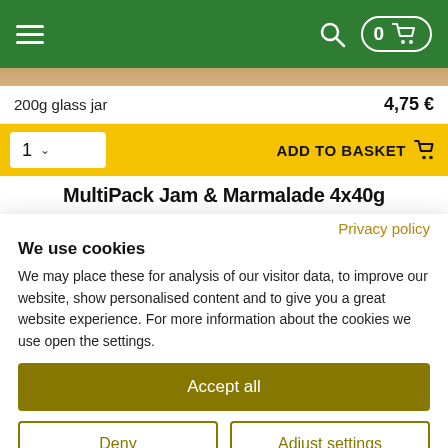Navigation bar with hamburger menu, search icon, and basket with count 0
200g glass jar  4,75 €
1  ADD TO BASKET
MultiPack Jam & Marmalade 4x40g
Privacy policy
We use cookies
We may place these for analysis of our visitor data, to improve our website, show personalised content and to give you a great website experience. For more information about the cookies we use open the settings.
Accept all
Deny
Adjust settings